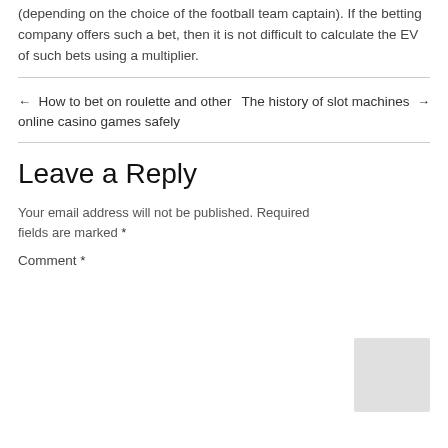(depending on the choice of the football team captain). If the betting company offers such a bet, then it is not difficult to calculate the EV of such bets using a multiplier.
← How to bet on roulette and other online casino games safely
The history of slot machines →
Leave a Reply
Your email address will not be published. Required fields are marked *
Comment *